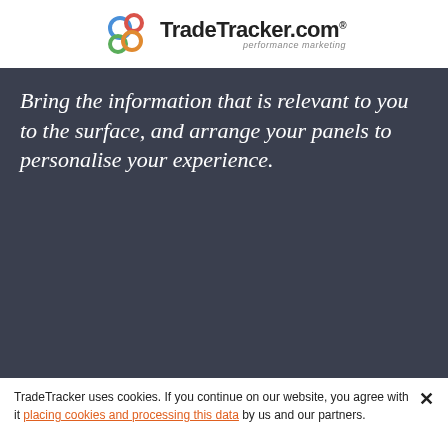[Figure (logo): TradeTracker.com logo with colored interlocking circles (blue, red, green, orange) and bold text 'TradeTracker.com' with registered trademark symbol, tagline 'performance marketing' in italic]
Bring the information that is relevant to you to the surface, and arrange your panels to personalise your experience.
TradeTracker uses cookies. If you continue on our website, you agree with it placing cookies and processing this data by us and our partners.